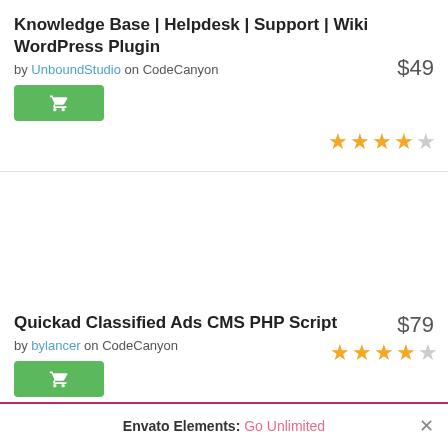Knowledge Base | Helpdesk | Support | Wiki WordPress Plugin
by UnboundStudio on CodeCanyon
$49
[Figure (other): 3.5 out of 5 stars rating]
Quickad Classified Ads CMS PHP Script
by bylancer on CodeCanyon
$79
[Figure (other): 4.5 out of 5 stars rating]
View collection
Envato Elements: Go Unlimited ×